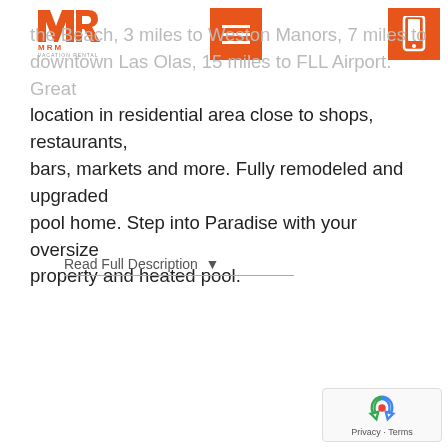[Figure (logo): MRM Vacation Rental logo - orange M and R letters with MRM text below and VACATION RENTAL subtitle]
[Figure (other): Orange square button with white hamburger menu (three lines) icon]
[Figure (other): Orange square button with white smartphone/phone icon]
the Beach, 3 miles to Weston Manors, 7 miles to downtown Las Olas, 15 miles to FLL Airport. Great location in residential area close to shops, restaurants, bars, markets and more. Fully remodeled and upgraded pool home. Step into Paradise with your oversize property and heated pool.
Read Full Description ▾
[Figure (other): Google reCAPTCHA badge with spinning arrows logo and Privacy · Terms text]